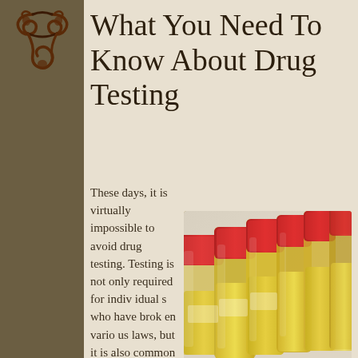[Figure (logo): Decorative dark brown swirling snake/infinity logo on left sidebar]
What You Need To Know About Drug Testing
These days, it is virtually impossible to avoid drug testing. Testing is not only required for individuals who have broken various laws, but it is also common when applying for jobs, and some places require it for people who
[Figure (photo): Row of urine sample specimen containers with red lids and yellow liquid, lined up in a row]